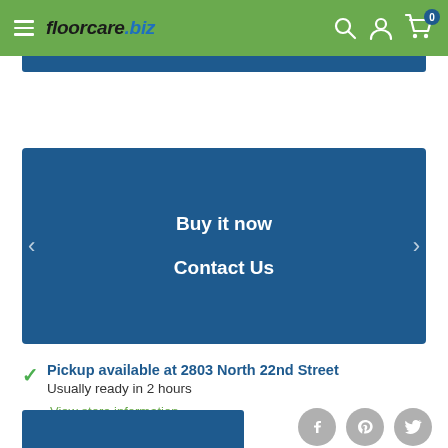floorcare.biz
[Figure (screenshot): Blue button bar partially visible at top]
[Figure (screenshot): Blue action buttons area with Buy it now and Contact Us]
Buy it now
Contact Us
Pickup available at 2803 North 22nd Street
Usually ready in 2 hours
View store information
[Figure (screenshot): Bottom section with partial blue bar and social media icons (Facebook, Pinterest, Twitter)]